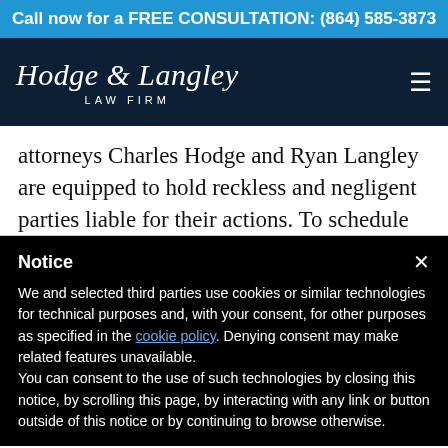Call now for a FREE CONSULTATION: (864) 585-3873
[Figure (logo): Hodge & Langley Law Firm logo with script font on dark navy background]
attorneys Charles Hodge and Ryan Langley are equipped to hold reckless and negligent parties liable for their actions. To schedule your free
Notice
We and selected third parties use cookies or similar technologies for technical purposes and, with your consent, for other purposes as specified in the cookie policy. Denying consent may make related features unavailable.
You can consent to the use of such technologies by closing this notice, by scrolling this page, by interacting with any link or button outside of this notice or by continuing to browse otherwise.